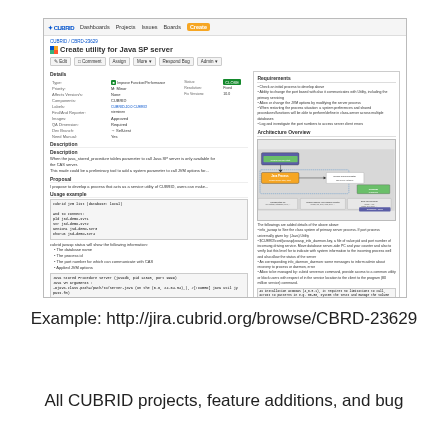[Figure (screenshot): Screenshot of a JIRA issue page showing 'Create utility for Java SP server' (CBRD-23629) with issue details, description, proposal, usage examples, code blocks, and an architecture overview diagram on the right side.]
Example: http://jira.cubrid.org/browse/CBRD-23629
All CUBRID projects, feature additions, and bug